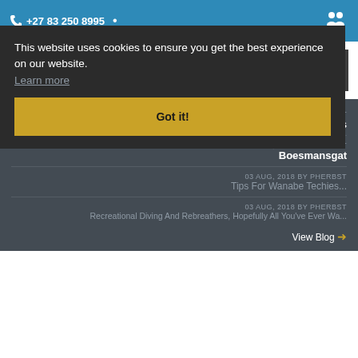+27 83 250 8995
[Figure (logo): Reef Divers logo with stylized fish/reef graphic and text 'reef divers']
03 AUG, 2018 BY PHERBST
Diving The E-19 Wrecks
03 AUG, 2018 BY PHERBST
Boesmansgat
03 AUG, 2018 BY PHERBST
Tips For Wanabe Techies...
03 AUG, 2018 BY PHERBST
Recreational Diving And Rebreathers, Hopefully All You've Ever Wa...
View Blog →
This website uses cookies to ensure you get the best experience on our website.
Learn more
Got it!